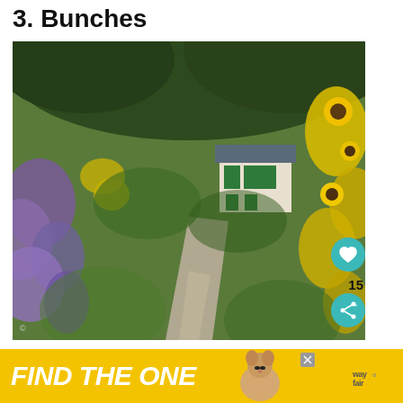3. Bunches
[Figure (photo): Garden path bordered by sunflowers and purple asters leading to a white house with green shutters, surrounded by lush green trees.]
[Figure (infographic): What's Next panel with thumbnail of sunflower field and text '10 Best Planters For...']
[Figure (infographic): Ad banner with yellow background and bold italic white text 'FIND THE ONE' with a dog image and Wayfair logo]